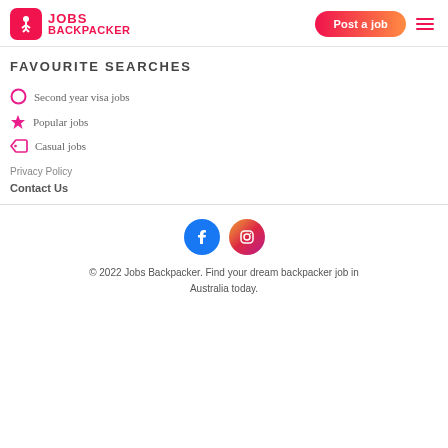Jobs Backpacker — Post a job
FAVOURITE SEARCHES
Second year visa jobs
Popular jobs
Casual jobs
Privacy Policy
Contact Us
© 2022 Jobs Backpacker. Find your dream backpacker job in Australia today.